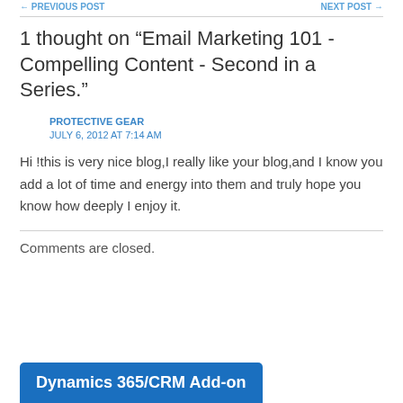← PREVIOUS POST   NEXT POST →
1 thought on “Email Marketing 101 - Compelling Content - Second in a Series.”
PROTECTIVE GEAR
JULY 6, 2012 AT 7:14 AM
Hi !this is very nice blog,I really like your blog,and I know you add a lot of time and energy into them and truly hope you know how deeply I enjoy it.
Comments are closed.
Dynamics 365/CRM Add-on